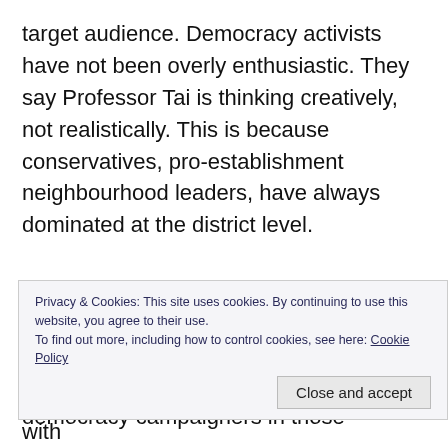target audience. Democracy activists have not been overly enthusiastic. They say Professor Tai is thinking creatively, not realistically. This is because conservatives, pro-establishment neighbourhood leaders, have always dominated at the district level.
The trend dates back to colonial days when electoral reforms began, in the 1980s, with new bodies called District Boards. But Hong Kong's first-generation democracy campaigners in those
Privacy & Cookies: This site uses cookies. By continuing to use this website, you agree to their use.
To find out more, including how to control cookies, see here: Cookie Policy
Close and accept
The after 1997... Beijing for... combining with...